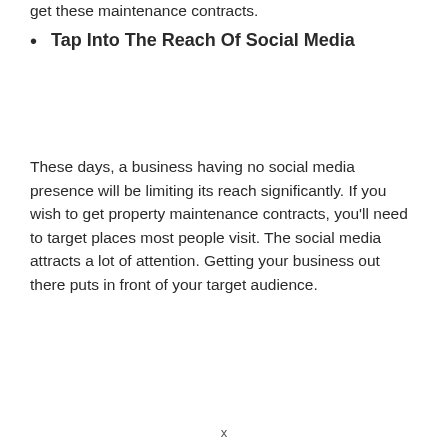get these maintenance contracts.
Tap Into The Reach Of Social Media
These days, a business having no social media presence will be limiting its reach significantly. If you wish to get property maintenance contracts, you'll need to target places most people visit. The social media attracts a lot of attention. Getting your business out there puts in front of your target audience.
x